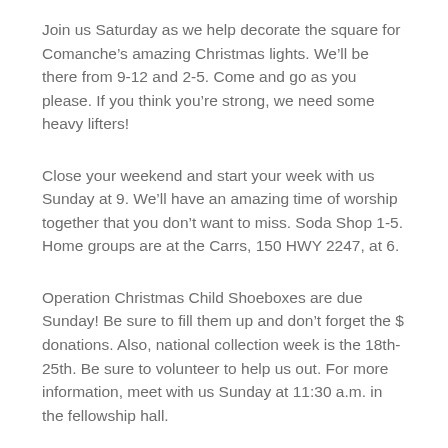Join us Saturday as we help decorate the square for Comanche’s amazing Christmas lights. We’ll be there from 9-12 and 2-5. Come and go as you please. If you think you’re strong, we need some heavy lifters!
Close your weekend and start your week with us Sunday at 9. We’ll have an amazing time of worship together that you don’t want to miss. Soda Shop 1-5. Home groups are at the Carrs, 150 HWY 2247, at 6.
Operation Christmas Child Shoeboxes are due Sunday! Be sure to fill them up and don’t forget the $ donations. Also, national collection week is the 18th-25th. Be sure to volunteer to help us out. For more information, meet with us Sunday at 11:30 a.m. in the fellowship hall.